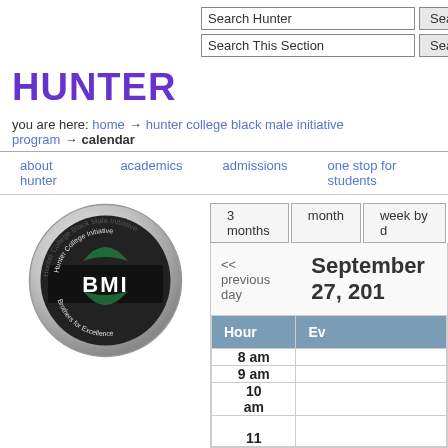Search Hunter [Search]  Search This Section [Search]  contact
HUNTER
you are here: home → hunter college black male initiative program → calendar
about hunter   academics   admissions   one stop for students
[Figure (logo): Hunter College Black Male Initiative (BMI) circular logo with red, green and black design and text 'Brothers for Excellence']
3 months   month   week by d
<< previous day   September 27, 201
| Hour | Ev |
| --- | --- |
| 8 am |  |
| 9 am |  |
| 10 am |  |
| 11 |  |